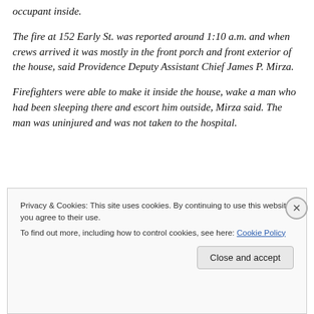occupant inside.
The fire at 152 Early St. was reported around 1:10 a.m. and when crews arrived it was mostly in the front porch and front exterior of the house, said Providence Deputy Assistant Chief James P. Mirza.
Firefighters were able to make it inside the house, wake a man who had been sleeping there and escort him outside, Mirza said. The man was uninjured and was not taken to the hospital.
Privacy & Cookies: This site uses cookies. By continuing to use this website, you agree to their use.
To find out more, including how to control cookies, see here: Cookie Policy
Close and accept